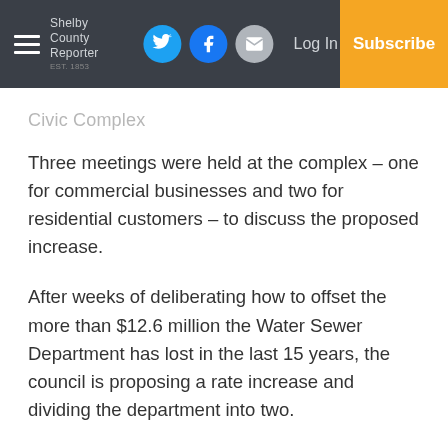Shelby County Reporter — Log In | Subscribe
Civic Complex
Three meetings were held at the complex – one for commercial businesses and two for residential customers – to discuss the proposed increase.
After weeks of deliberating how to offset the more than $12.6 million the Water Sewer Department has lost in the last 15 years, the council is proposing a rate increase and dividing the department into two.